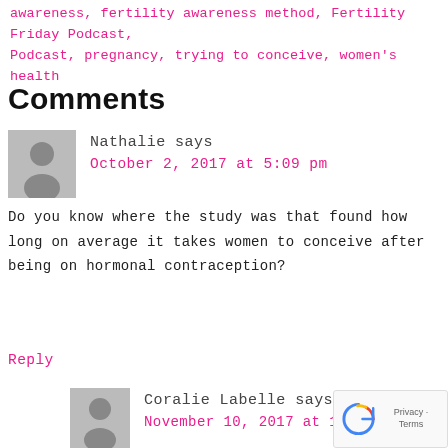awareness, fertility awareness method, Fertility Friday Podcast, Podcast, pregnancy, trying to conceive, women's health
Comments
Nathalie says
October 2, 2017 at 5:09 pm
Do you know where the study was that found how long on average it takes women to conceive after being on hormonal contraception?
Reply
Coralie Labelle says
November 10, 2017 at 10:05